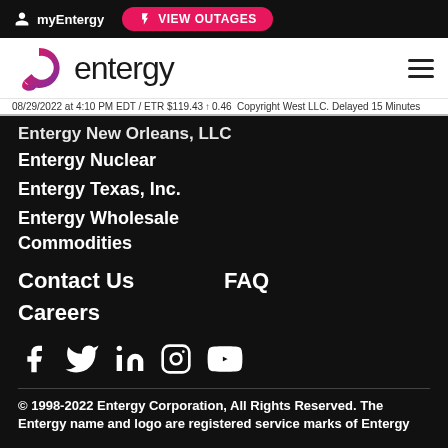myEntergy  VIEW OUTAGES
[Figure (logo): Entergy logo with stylized 'e' icon in pink/purple gradient and wordmark 'entergy' in dark text, hamburger menu icon on right]
08/29/2022 at 4:10 PM EDT / ETR $119.43 ↑0.46  Copyright West LLC. Delayed 15 Minutes
Entergy New Orleans, LLC (partial)
Entergy Nuclear
Entergy Texas, Inc.
Entergy Wholesale Commodities
Contact Us
FAQ
Careers
[Figure (infographic): Social media icons row: Facebook, Twitter, LinkedIn, Instagram, YouTube — all white on dark background]
© 1998-2022 Entergy Corporation, All Rights Reserved. The Entergy name and logo are registered service marks of Entergy